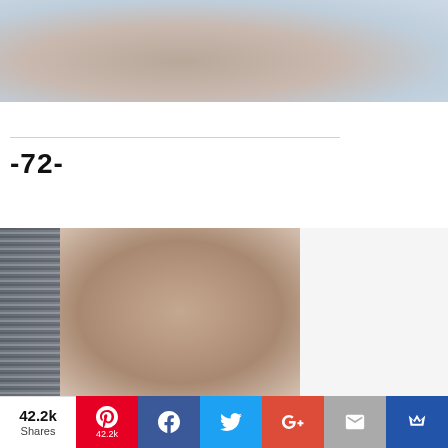[Figure (photo): Close-up photo of a person's body/torso area, light blue-white fabric visible on right side, soft natural lighting]
-72-
[Figure (photo): Close-up photo showing skin and blue/white striped fabric on the left side]
42.2k Shares | Pinterest 42.2k | Facebook | Twitter | G+ | Email | Crown